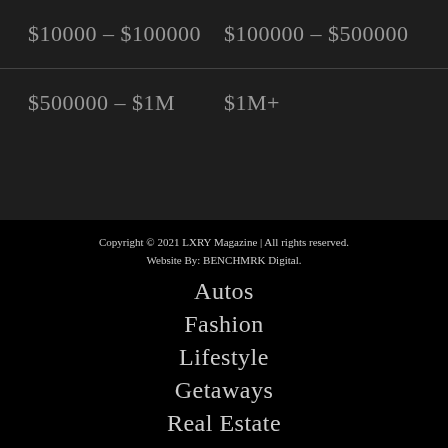| $10000 – $100000 | $100000 – $500000 |
| $500000 – $1M | $1M+ |
Copyright © 2021 LXRY Magazine | All rights reserved.
Website By: BENCHMRK Digital.
Autos
Fashion
Lifestyle
Getaways
Real Estate
Tech